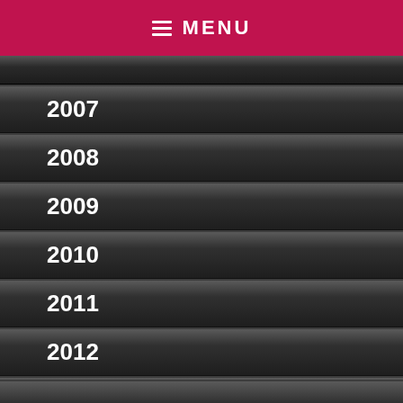MENU
2007
2008
2009
2010
2011
2012
2013